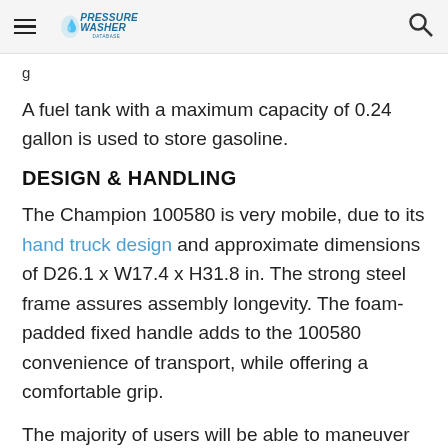Pressure Washer Database
g
A fuel tank with a maximum capacity of 0.24 gallon is used to store gasoline.
DESIGN & HANDLING
The Champion 100580 is very mobile, due to its hand truck design and approximate dimensions of D26.1 x W17.4 x H31.8 in. The strong steel frame assures assembly longevity. The foam-padded fixed handle adds to the 100580 convenience of transport, while offering a comfortable grip.
The majority of users will be able to maneuver this unit easily, it only weighs 51.6 lbs. Its 201 cc Honda GCV200